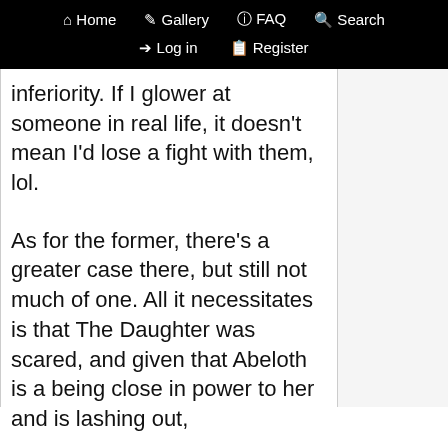Home  Gallery  FAQ  Search  Log in  Register
inferiority. If I glower at someone in real life, it doesn't mean I'd lose a fight with them, lol.
As for the former, there's a greater case there, but still not much of one. All it necessitates is that The Daughter was scared, and given that Abeloth is a being close in power to her and is lashing out,